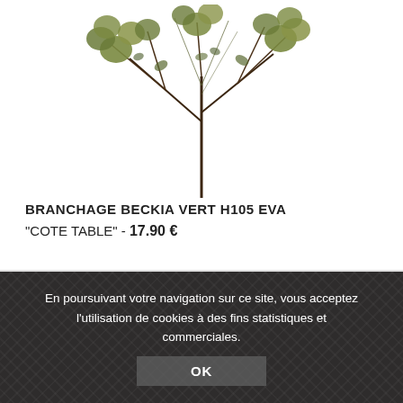[Figure (photo): A decorative artificial plant branch (Branchage Beckia) with round greenish-olive leaves and thin dark stems, displayed against a white background.]
BRANCHAGE BECKIA VERT H105 EVA "COTE TABLE" - 17.90 €
En poursuivant votre navigation sur ce site, vous acceptez l'utilisation de cookies à des fins statistiques et commerciales.
OK